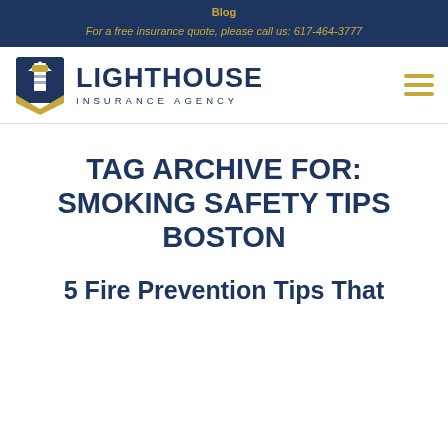Blog
For a free insurance quote, please call us: 617-464-3777
[Figure (logo): Lighthouse Insurance Agency logo with lighthouse icon and text]
TAG ARCHIVE FOR: SMOKING SAFETY TIPS BOSTON
5 Fire Prevention Tips That